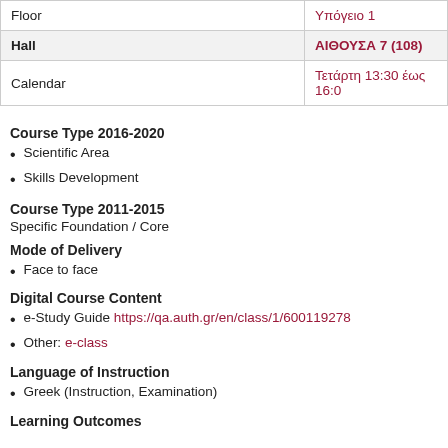| Floor | Υπόγειο 1 |
| Hall | ΑΙΘΟΥΣΑ 7 (108) |
| Calendar | Τετάρτη 13:30 έως 16:0 |
Course Type 2016-2020
Scientific Area
Skills Development
Course Type 2011-2015
Specific Foundation / Core
Mode of Delivery
Face to face
Digital Course Content
e-Study Guide https://qa.auth.gr/en/class/1/600119278
Other: e-class
Language of Instruction
Greek (Instruction, Examination)
Learning Outcomes